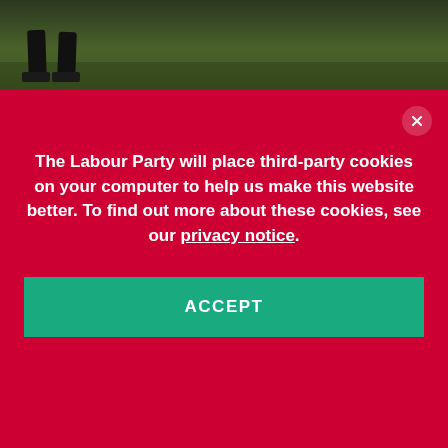[Figure (photo): Cropped photo showing legs/feet of people standing on grass, dark filter applied]
ABOUT LABOUR
Labour's Legacy
How We Work
International Labour
PEOPLE
The Labour Party will place third-party cookies on your computer to help us make this website better. To find out more about these cookies, see our privacy notice.
ACCEPT